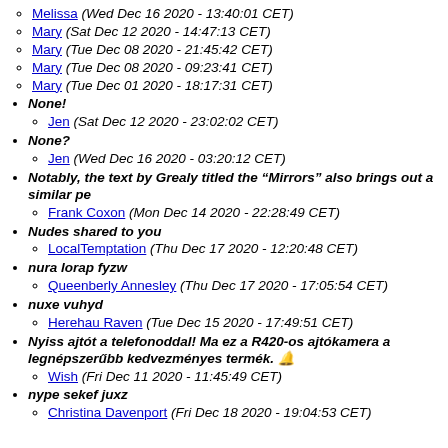Melissa (Wed Dec 16 2020 - 13:40:01 CET)
Mary (Sat Dec 12 2020 - 14:47:13 CET)
Mary (Tue Dec 08 2020 - 21:45:42 CET)
Mary (Tue Dec 08 2020 - 09:23:41 CET)
Mary (Tue Dec 01 2020 - 18:17:31 CET)
None! — Jen (Sat Dec 12 2020 - 23:02:02 CET)
None? — Jen (Wed Dec 16 2020 - 03:20:12 CET)
Notably, the text by Grealy titled the “Mirrors” also brings out a similar pe — Frank Coxon (Mon Dec 14 2020 - 22:28:49 CET)
Nudes shared to you — LocalTemptation (Thu Dec 17 2020 - 12:20:48 CET)
nura lorap fyzw — Queenberly Annesley (Thu Dec 17 2020 - 17:05:54 CET)
nuxe vuhyd — Herehau Raven (Tue Dec 15 2020 - 17:49:51 CET)
Nyiss ajtót a telefonoddal! Ma ez a R420-os ajtókamera a legnépszerűbb kedvezményes termék. 🔔 — Wish (Fri Dec 11 2020 - 11:45:49 CET)
nype sekef juxz — Christina Davenport (Fri Dec 18 2020 - 19:04:53 CET)